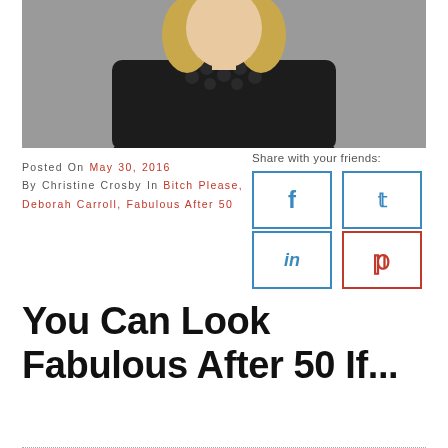[Figure (photo): Woman with blonde hair wearing black outfit and large black bead necklace against gray background]
Posted On May 30, 2016 By Christine Crosby In Bitch Please, Deborah Carroll, Fabulous After 50
Share with your friends:
You Can Look Fabulous After 50 If...